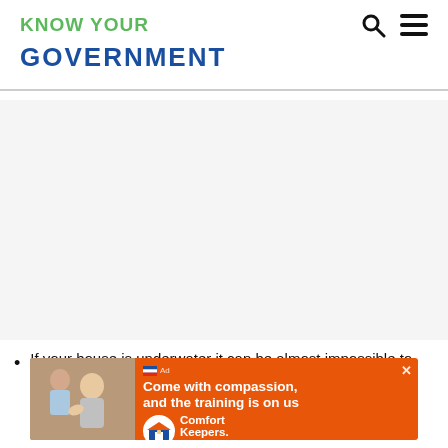KNOW YOUR GOVERNMENT
If your house is underwater it can be almost impossible to refinance your mortgage without using a program...
[Figure (photo): Advertisement from Comfort Keepers: 'Come with compassion, and the training is on us' with a photo of a caregiver and elderly person]